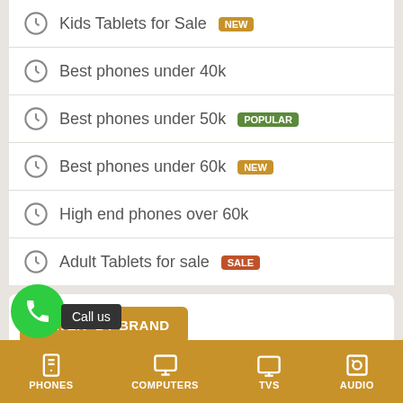Kids Tablets for Sale NEW
Best phones under 40k
Best phones under 50k POPULAR
Best phones under 60k NEW
High end phones over 60k
Adult Tablets for sale SALE
FILTER  BY BRAND
Tecno Samsung Xiaomi Infinix
Call us
PHONES  COMPUTERS  TVS  AUDIO